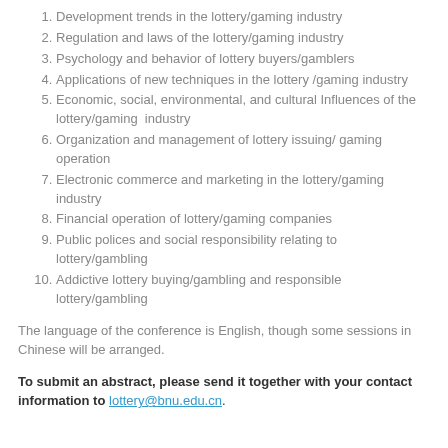1. Development trends in the lottery/gaming industry
2. Regulation and laws of the lottery/gaming industry
3. Psychology and behavior of lottery buyers/gamblers
4. Applications of new techniques in the lottery /gaming industry
5. Economic, social, environmental, and cultural Influences of the lottery/gaming  industry
6. Organization and management of lottery issuing/ gaming operation
7. Electronic commerce and marketing in the lottery/gaming industry
8. Financial operation of lottery/gaming companies
9. Public polices and social responsibility relating to lottery/gambling
10. Addictive lottery buying/gambling and responsible lottery/gambling
The language of the conference is English, though some sessions in Chinese will be arranged.
To submit an abstract, please send it together with your contact information to lottery@bnu.edu.cn.